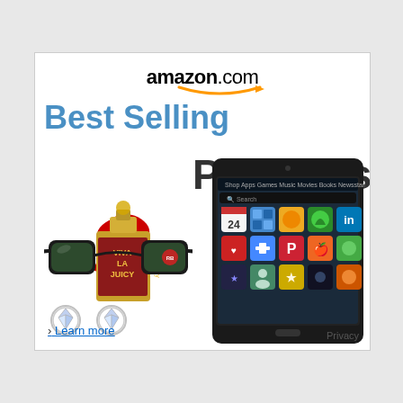[Figure (illustration): Amazon.com Best Selling Products advertisement banner featuring the Amazon logo with orange arrow, 'Best Selling' in blue text and 'Products' in dark gray text, with product images including a Kindle Fire tablet showing app icons, Juicy Couture 'Viva La Juicy' perfume bottle with red bow, Ray-Ban sunglasses, and diamond stud earrings. A 'Learn more' link and 'Privacy' text appear at the bottom.]